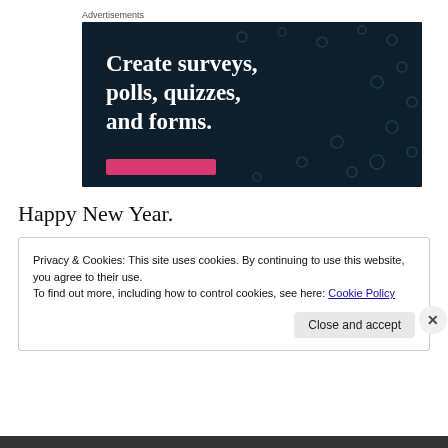Advertisements
[Figure (illustration): Dark navy advertisement banner with white bold serif text reading 'Create surveys, polls, quizzes, and forms.' with a pink button at the bottom and a dot pattern background.]
Happy New Year.
Privacy & Cookies: This site uses cookies. By continuing to use this website, you agree to their use.
To find out more, including how to control cookies, see here: Cookie Policy